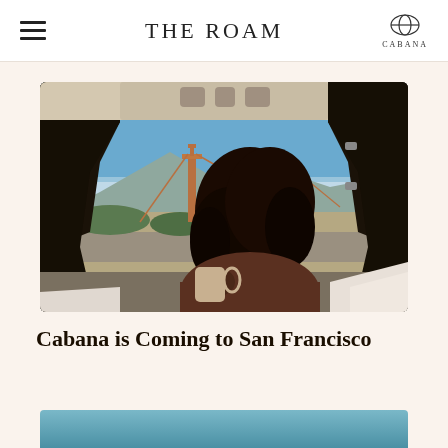THE ROAM
[Figure (photo): Person with curly dark hair sitting inside a van/camper vehicle, viewed from behind, looking out through the open back doors at the Golden Gate Bridge in San Francisco. The bridge towers and cables are visible against a clear blue sky with mountains in the background. The interior of the van shows the roof lining and door frames framing the view.]
Cabana is Coming to San Francisco